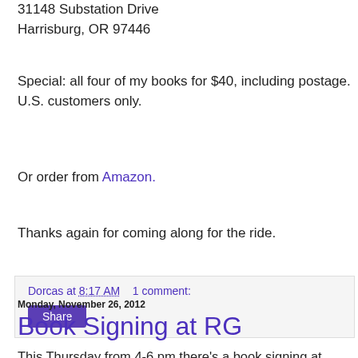31148 Substation Drive
Harrisburg, OR 97446
Special: all four of my books for $40, including postage.  U.S. customers only.
Or order from Amazon.
Thanks again for coming along for the ride.
Dorcas at 8:17 AM   1 comment:
Share
Monday, November 26, 2012
Book Signing at RG
This Thursday from 4-6 pm there's a book signing at the Register-Guard building at 3500 Chad Drive for RG authors.
In case you can't read this, the others are Bob Welch, Jan